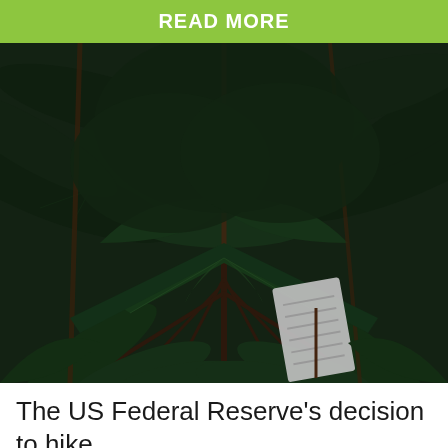READ MORE
[Figure (photo): Close-up photograph of dark green cannabis/marijuana leaves with a small white label/tag attached to one of the stems. The image is dark and moody with deep green tones.]
The US Federal Reserve's decision to hike